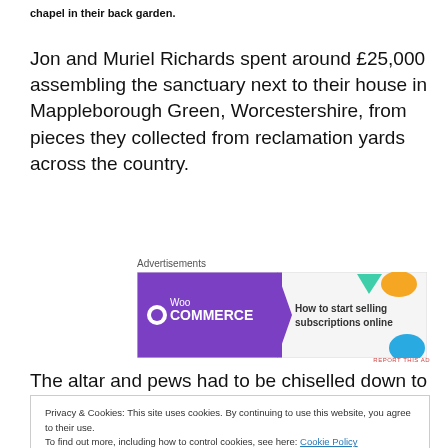chapel in their back garden.
Jon and Muriel Richards spent around £25,000 assembling the sanctuary next to their house in Mappleborough Green, Worcestershire, from pieces they collected from reclamation yards across the country.
Advertisements
[Figure (other): WooCommerce advertisement banner: purple left section with WooCommerce logo, teal arrow shape, and right section with colorful shapes and text 'How to start selling subscriptions online']
The altar and pews had to be chiselled down to size, the
Privacy & Cookies: This site uses cookies. By continuing to use this website, you agree to their use.
To find out more, including how to control cookies, see here: Cookie Policy
Close and accept